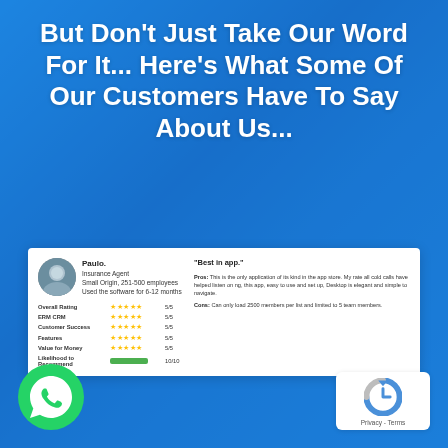But Don't Just Take Our Word For It... Here's What Some Of Our Customers Have To Say About Us...
[Figure (screenshot): Customer review card showing reviewer Paulo, Insurance Agent, with star ratings for Overall Rating (5/5), ERM CRM (5/5), Customer Success (5/5), Features (5/5), Value for Money (5/5), Likelihood to Recommend (10/10). Review title 'Best in app' with pros about the app being the only application of its kind and cons about member and team member limits.]
[Figure (logo): WhatsApp green circular button icon in bottom left corner]
[Figure (logo): Google reCAPTCHA badge with Privacy - Terms text in bottom right corner]